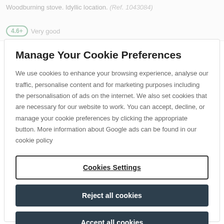Woodburning stove. Idyllic location. (Ref. 1043084)
4.6+ Very good
Manage Your Cookie Preferences
We use cookies to enhance your browsing experience, analyse our traffic, personalise content and for marketing purposes including the personalisation of ads on the internet. We also set cookies that are necessary for our website to work. You can accept, decline, or manage your cookie preferences by clicking the appropriate button. More information about Google ads can be found in our cookie policy
Cookies Settings
Reject all cookies
Accept all cookies